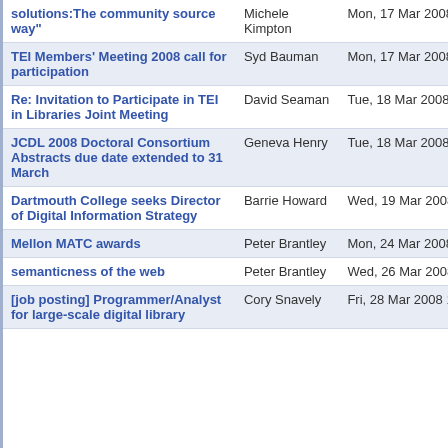| Subject | Author | Date |
| --- | --- | --- |
| solutions:The community source way" | Michele Kimpton | Mon, 17 Mar 2008 10:18:54 |
| TEI Members' Meeting 2008 call for participation | Syd Bauman | Mon, 17 Mar 2008 23:52:19 |
| Re: Invitation to Participate in TEI in Libraries Joint Meeting | David Seaman | Tue, 18 Mar 2008 04:47:53 |
| JCDL 2008 Doctoral Consortium Abstracts due date extended to 31 March | Geneva Henry | Tue, 18 Mar 2008 11:40:20 |
| Dartmouth College seeks Director of Digital Information Strategy | Barrie Howard | Wed, 19 Mar 2008 15:51:08 |
| Mellon MATC awards | Peter Brantley | Mon, 24 Mar 2008 10:14:01 |
| semanticness of the web | Peter Brantley | Wed, 26 Mar 2008 07:20:48 |
| [job posting] Programmer/Analyst for large-scale digital library | Cory Snavely | Fri, 28 Mar 2008 10:11:10 |